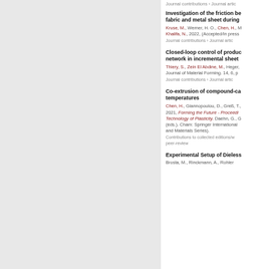Journal contributions › Journal articles
Investigation of the friction between fabric and metal sheet during...
Kruse, M., Werner, H. O., Chen, H., M... Khalifa, N., 2022, (Accepted/In press...)
Journal contributions › Journal articles
Closed-loop control of product... network in incremental sheet...
Thiery, S., Zein El Abdine, M., Heger,... Journal of Material Forming. 14, 6, p...
Journal contributions › Journal articles
Co-extrusion of compound-ca... temperatures
Chen, H., Giannopoulou, D., Greß, T.,... 2021, Forming the Future - Proceedi... Technology of Plasticity. Daehn, G., G... (eds.). Cham: Springer International... and Materials Series).
Contributions to collected editions/w... peer-review
Experimental Setup of Dieless...
Brosta, M., Rinckmann, A., Rohler...